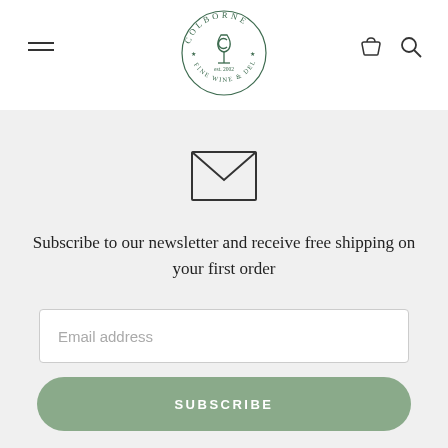[Figure (logo): Colborne Fine Wine & Deli circular logo with wine glass, est. 2002]
Subscribe to our newsletter and receive free shipping on your first order
Email address
SUBSCRIBE